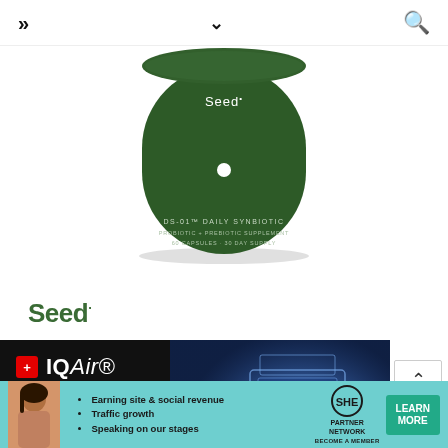» navigation header with chevron and search icon
[Figure (photo): Green cylindrical Seed probiotic canister labeled 'Seed DS-01 Daily Synbiotic Probiotic + Prebiotic Supplement 60 capsules 30 day supply' with white dot on front, displayed against white background]
Seed·
[Figure (photo): IQAir advertisement with dark background, red cross logo, IQAir brand name, and text '#1 air purifier in action' with blue-lit air purifier device visible on the right]
[Figure (advertisement): SHE Partner Network banner ad in teal/turquoise with woman avatar, bullet points: Earning site & social revenue, Traffic growth, Speaking on our stages; SHE Partner Network logo, BECOME A MEMBER text, and LEARN MORE green button]